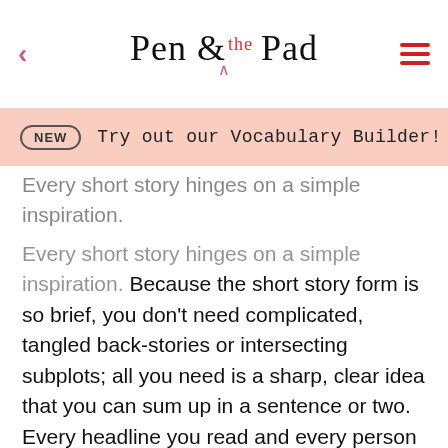Pen & the Pad
NEW   Try out our Vocabulary Builder!
Every short story hinges on a simple inspiration. Because the short story form is so brief, you don't need complicated, tangled back-stories or intersecting subplots; all you need is a sharp, clear idea that you can sum up in a sentence or two. Every headline you read and every person you pass could trigger that idea, so keep your eyes open and your mind engaged while looking for your plot and characters.
Start With Your Surroundings
Look around you and see what catches your eye.